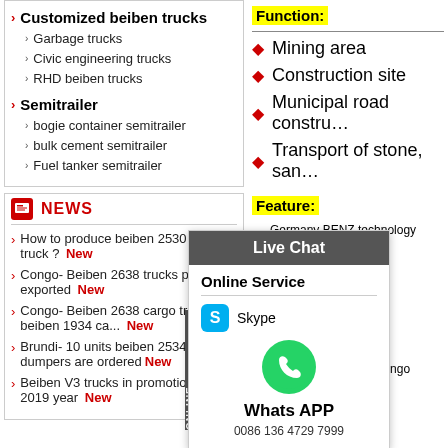Customized beiben trucks
Garbage trucks
Civic engineering trucks
RHD beiben trucks
Semitrailer
bogie container semitrailer
bulk cement semitrailer
Fuel tanker semitrailer
NEWS
How to produce beiben 2530 fuel truck ? New
Congo- Beiben 2638 trucks parts are exported New
Congo- Beiben 2638 cargo truck and beiben 1934 ca... New
Brundi- 10 units beiben 2534 dumpers are ordered New
Beiben V3 trucks in promotion sale 2019 year New
Function:
Mining area
Construction site
Municipal road constru...
Transport of stone, san...
Feature:
Germany BENZ technology dumpe...
Weichai d...
Continuou...
Enha...
Spec...
Speci... Similar... beibe... truck, congo beiben 2534 dum...